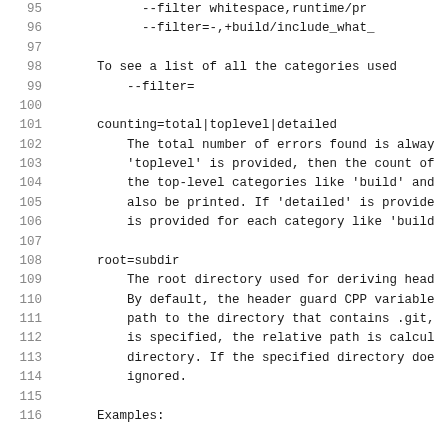95   --filter whitespace,runtime/pr...
96       --filter=-,+build/include_what_...
97
98   To see a list of all the categories used...
99       --filter=
100
101   counting=total|toplevel|detailed
102       The total number of errors found is alway...
103       'toplevel' is provided, then the count of...
104       the top-level categories like 'build' and...
105       also be printed. If 'detailed' is provide...
106       is provided for each category like 'build...
107
108   root=subdir
109       The root directory used for deriving head...
110       By default, the header guard CPP variable...
111       path to the directory that contains .git,...
112       is specified, the relative path is calcul...
113       directory. If the specified directory doe...
114       ignored.
115
116   Examples: